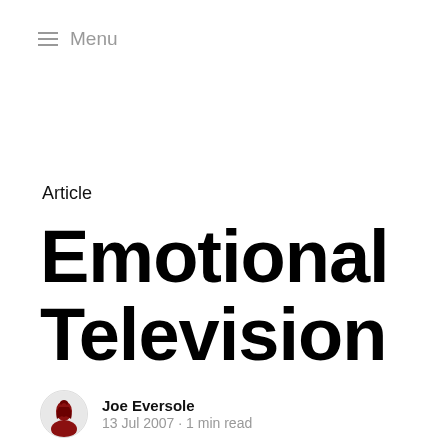≡ Menu
Article
Emotional Television
Joe Eversole
13 Jul 2007 • 1 min read